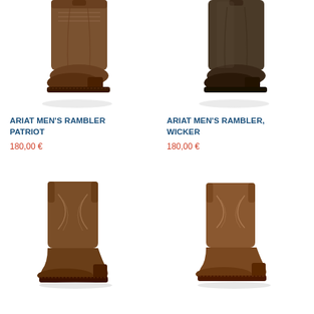[Figure (photo): Brown leather Ariat Men's Rambler Patriot cowboy boot, tall shaft, cropped at top]
ARIAT MEN'S RAMBLER PATRIOT
180,00 €
[Figure (photo): Dark brown leather Ariat Men's Rambler Wicker cowboy boot, tall shaft, cropped at top]
ARIAT MEN'S RAMBLER, WICKER
180,00 €
[Figure (photo): Brown leather Ariat cowboy boot with decorative stitching, full boot visible]
[Figure (photo): Brown leather Ariat cowboy boot with decorative stitching, full boot visible]